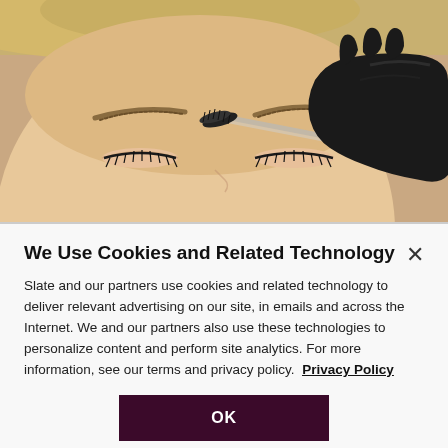[Figure (photo): Close-up photo of a woman with closed eyes having her eyebrow groomed with a spoolie brush by a gloved hand (black latex glove). The woman has fair skin and light blonde hair. The practitioner holds a clear-handled brow brush/spoolie.]
We Use Cookies and Related Technology
Slate and our partners use cookies and related technology to deliver relevant advertising on our site, in emails and across the Internet. We and our partners also use these technologies to personalize content and perform site analytics. For more information, see our terms and privacy policy.  Privacy Policy
OK